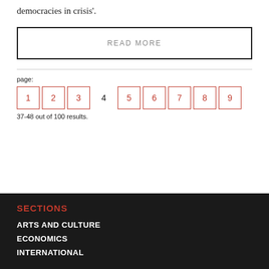democracies in crisis'.
READ MORE
page:
1 2 3 4 5 6 7 8 9
37-48 out of 100 results.
SECTIONS
ARTS AND CULTURE
ECONOMICS
INTERNATIONAL